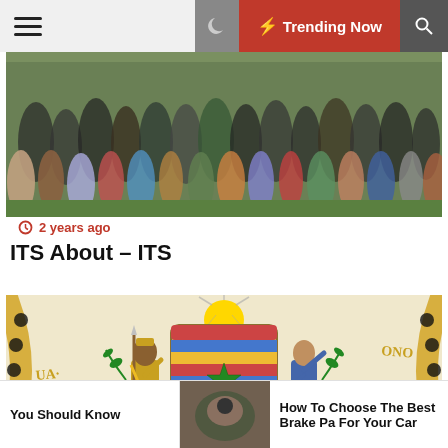Trending Now
[Figure (photo): Large group of people posing outdoors on grass, group photo]
2 years ago
ITS About – ITS
[Figure (illustration): Hawaii state seal illustration showing two figures flanking a central shield with a star and stripes, decorative border]
2 years ago
You Should Know
[Figure (photo): Small thumbnail photo]
How To Choose The Best Brake Pa For Your Car